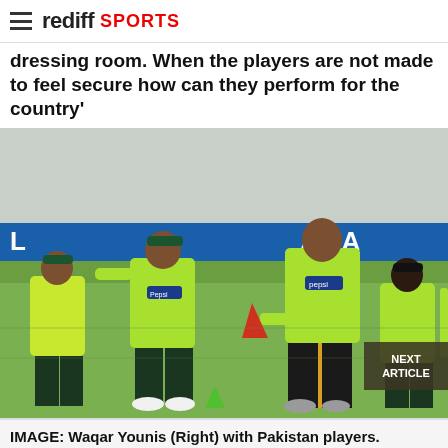rediff SPORTS
dressing room. When the players are not made to feel secure how can they perform for the country'
[Figure (photo): Pakistan cricket players in green and yellow jerseys on a cricket ground during practice. Waqar Younis stands on the right in a lime green Pepsi-sponsored jersey and dark trackpants, holding a red item. Several players walk behind him.]
IMAGE: Waqar Younis (Right) with Pakistan players.